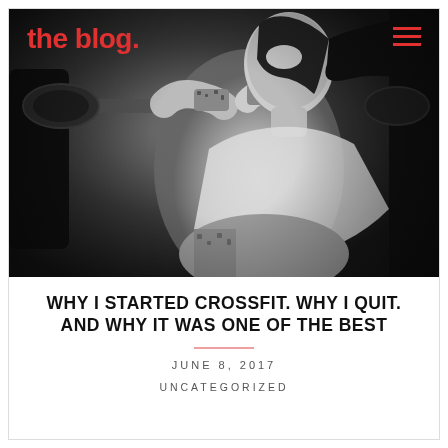[Figure (photo): Black and white photo of a woman doing a barbell lift (CrossFit/weightlifting) with leopard print wrist wraps, looking upward with effort]
the blog
WHY I STARTED CROSSFIT. WHY I QUIT. AND WHY IT WAS ONE OF THE BEST
JUNE 8, 2017
UNCATEGORIZED